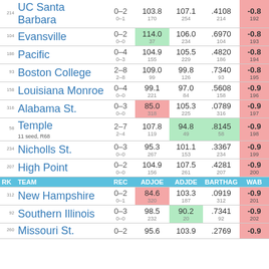| RK | TEAM | REC | ADJOE | ADJDE | BARTHAG | WAB |
| --- | --- | --- | --- | --- | --- | --- |
| 214 | UC Santa Barbara | 0–2 / 0–1 | 103.8 / 170 | 107.1 / 254 | .4108 / 214 | -0.8 / 192 |
| 104 | Evansville | 0–2 / 0–0 | 114.0 / 37 | 106.0 / 234 | .6970 / 104 | -0.8 / 193 |
| 186 | Pacific | 0–4 / 0–3 | 104.9 / 155 | 105.5 / 229 | .4820 / 186 | -0.8 / 194 |
| 93 | Boston College | 2–8 / 2–8 | 109.0 / 99 | 99.8 / 126 | .7340 / 93 | -0.8 / 195 |
| 158 | Louisiana Monroe | 0–4 / 0–0 | 99.1 / 221 | 97.0 / 84 | .5608 / 158 | -0.9 / 196 |
| 316 | Alabama St. | 0–3 / 0–0 | 85.0 / 318 | 105.3 / 225 | .0789 / 316 | -0.9 / 197 |
| 58 | Temple 11 seed, R68 | 2–7 / 2–4 | 107.8 / 119 | 94.8 / 49 | .8145 / 58 | -0.9 / 198 |
| 234 | Nicholls St. | 0–3 / 0–0 | 95.3 / 267 | 101.1 / 153 | .3367 / 234 | -0.9 / 199 |
| 207 | High Point | 0–2 / 0–0 | 104.9 / 156 | 107.5 / 261 | .4281 / 207 | -0.9 / 200 |
| 312 | New Hampshire | 0–2 / 0–1 | 84.6 / 320 | 103.3 / 187 | .0919 / 312 | -0.9 / 201 |
| 92 | Southern Illinois | 0–3 / 0–0 | 98.5 / 232 | 90.2 / 20 | .7341 / 92 | -0.9 / 202 |
| 260 | Missouri St. | 0–2 | 95.6 | 103.9 | .2769 | -0.9 |